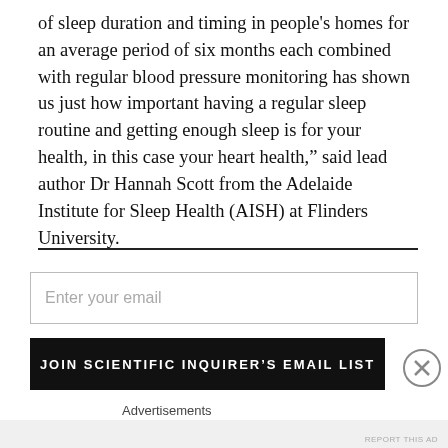of sleep duration and timing in people’s homes for an average period of six months each combined with regular blood pressure monitoring has shown us just how important having a regular sleep routine and getting enough sleep is for your health, in this case your heart health,” said lead author Dr Hannah Scott from the Adelaide Institute for Sleep Health (AISH) at Flinders University.
Enter your email
JOIN SCIENTIFIC INQUIRER’S EMAIL LIST
Advertisements